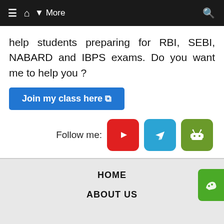≡  🏠  ▾ More   🔍
help students preparing for RBI, SEBI, NABARD and IBPS exams. Do you want me to help you ?
[Figure (screenshot): Blue button labeled 'Join my class here' with external link icon]
[Figure (infographic): Follow me: row with red YouTube button, blue Telegram button, green Android button]
HOME
ABOUT US
Install App  [Android icon] [Apple icon]  ✕